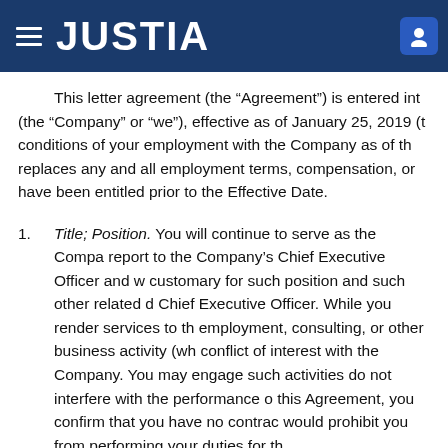JUSTIA
This letter agreement (the “Agreement”) is entered into (the “Company” or “we”), effective as of January 25, 2019 (the conditions of your employment with the Company as of the replaces any and all employment terms, compensation, or have been entitled prior to the Effective Date.
Title; Position. You will continue to serve as the Company report to the Company’s Chief Executive Officer and customary for such position and such other related Chief Executive Officer. While you render services to the employment, consulting, or other business activity (w conflict of interest with the Company. You may engage such activities do not interfere with the performance this Agreement, you confirm that you have no contrac would prohibit you from performing your duties for the